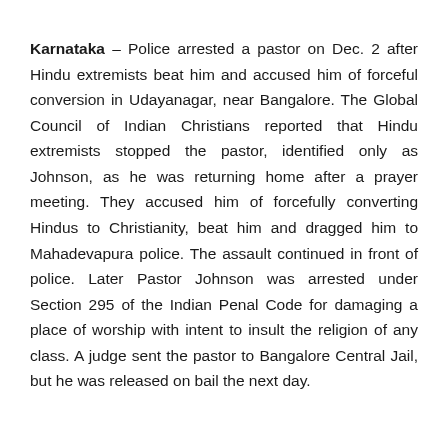Karnataka – Police arrested a pastor on Dec. 2 after Hindu extremists beat him and accused him of forceful conversion in Udayanagar, near Bangalore. The Global Council of Indian Christians reported that Hindu extremists stopped the pastor, identified only as Johnson, as he was returning home after a prayer meeting. They accused him of forcefully converting Hindus to Christianity, beat him and dragged him to Mahadevapura police. The assault continued in front of police. Later Pastor Johnson was arrested under Section 295 of the Indian Penal Code for damaging a place of worship with intent to insult the religion of any class. A judge sent the pastor to Bangalore Central Jail, but he was released on bail the next day.